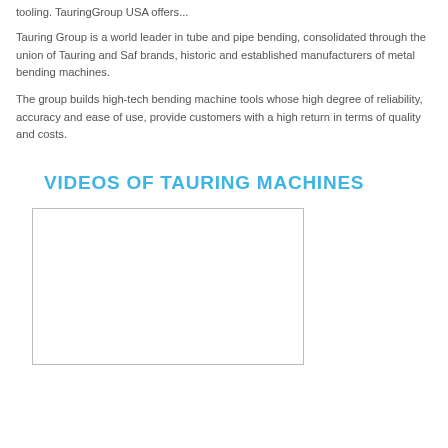tooling. TauringGroup USA offers...
Tauring Group is a world leader in tube and pipe bending, consolidated through the union of Tauring and Saf brands, historic and established manufacturers of metal bending machines.
The group builds high-tech bending machine tools whose high degree of reliability, accuracy and ease of use, provide customers with a high return in terms of quality and costs.
VIDEOS OF TAURING MACHINES
[Figure (other): Empty video player box with border, approximately 270x155 pixels]